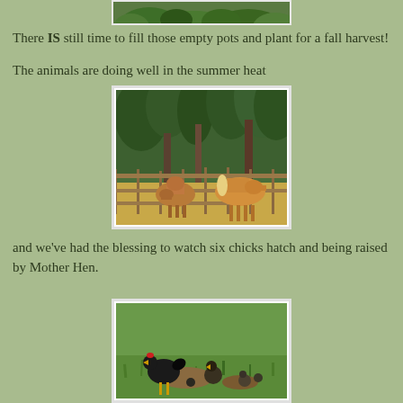[Figure (photo): Top portion of a photo showing green leafy plants, partially cropped at the top of the page]
There IS still time to fill those empty pots and plant for a fall harvest!
The animals are doing well in the summer heat
[Figure (photo): Two palomino/tan horses grazing in a fenced paddock surrounded by tall green pine trees]
and we've had the blessing to watch six chicks hatch and being raised by Mother Hen.
[Figure (photo): A black hen and small chicks on green grass, partially visible at the bottom of the page]